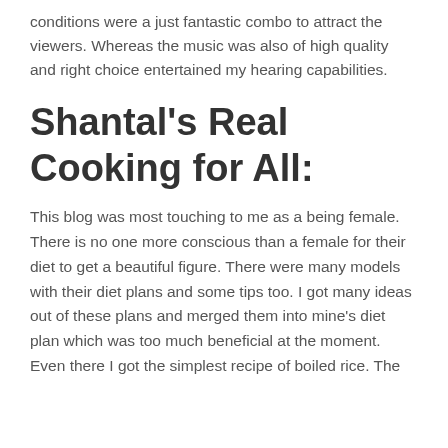conditions were a just fantastic combo to attract the viewers. Whereas the music was also of high quality and right choice entertained my hearing capabilities.
Shantal's Real Cooking for All:
This blog was most touching to me as a being female. There is no one more conscious than a female for their diet to get a beautiful figure. There were many models with their diet plans and some tips too. I got many ideas out of these plans and merged them into mine's diet plan which was too much beneficial at the moment. Even there I got the simplest recipe of boiled rice. The first...